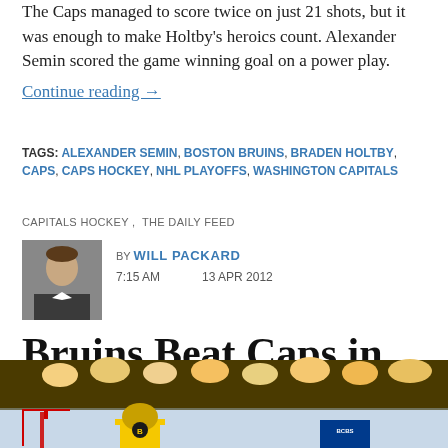The Caps managed to score twice on just 21 shots, but it was enough to make Holtby's heroics count. Alexander Semin scored the game winning goal on a power play.
Continue reading →
TAGS: ALEXANDER SEMIN, BOSTON BRUINS, BRADEN HOLTBY, CAPS, CAPS HOCKEY, NHL PLAYOFFS, WASHINGTON CAPITALS
CAPITALS HOCKEY, THE DAILY FEED
BY WILL PACKARD 7:15 AM 13 APR 2012
[Figure (photo): Author avatar photo of Will Packard]
Bruins Beat Caps in OT, 1-0
[Figure (photo): Hockey game photo showing goalie in yellow/black Bruins jersey in front of net with crowd in background]